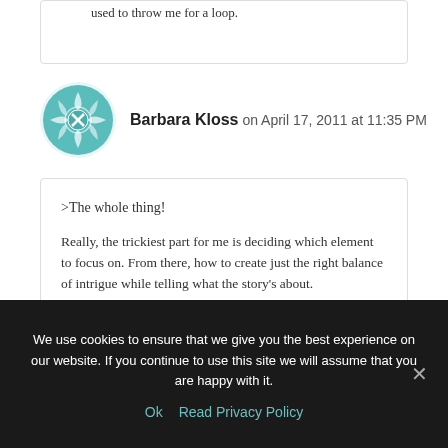used to throw me for a loop.
Barbara Kloss on April 17, 2011 at 11:35 PM
>The whole thing!

Really, the trickiest part for me is deciding which element to focus on. From there, how to create just the right balance of intrigue while telling what the story's about.

Thanks for mentioning the part about letting an agent
We use cookies to ensure that we give you the best experience on our website. If you continue to use this site we will assume that you are happy with it.
Ok   Read Privacy Policy